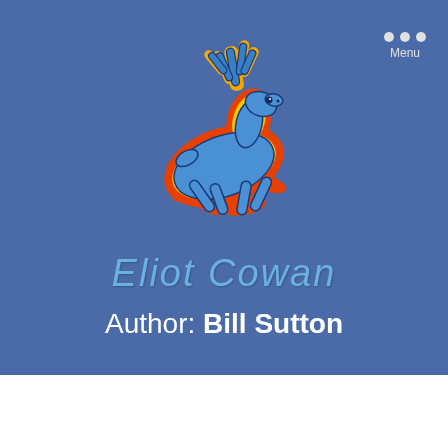[Figure (logo): Blue leaping stag/deer with orange and red flame outline and flaming antlers — the Eliot Cowan logo]
Eliot Cowan
Author: Bill Sutton